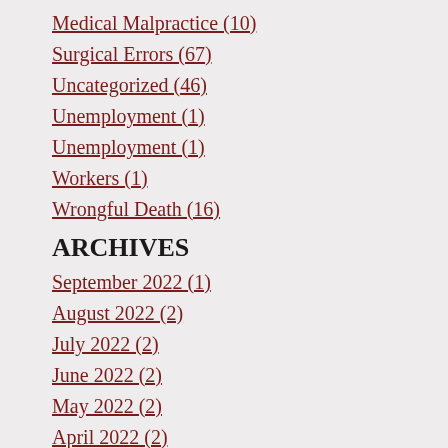Medical Malpractice (10)
Surgical Errors (67)
Uncategorized (46)
Unemployment (1)
Unemployment (1)
Workers (1)
Wrongful Death (16)
ARCHIVES
September 2022 (1)
August 2022 (2)
July 2022 (2)
June 2022 (2)
May 2022 (2)
April 2022 (2)